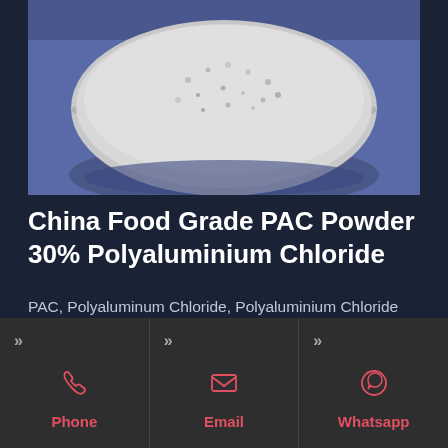[Figure (photo): Overhead photo of a white bowl containing white granular powder (PAC/Polyaluminium Chloride) on a blue/purple background]
China Food Grade PAC Powder 30% Polyaluminium Chloride
PAC, Polyaluminum Chloride, Polyaluminium Chloride manufacturer / supplier in China, offering Food Grade PAC Powder 30%
Phone | Email | Whatsapp